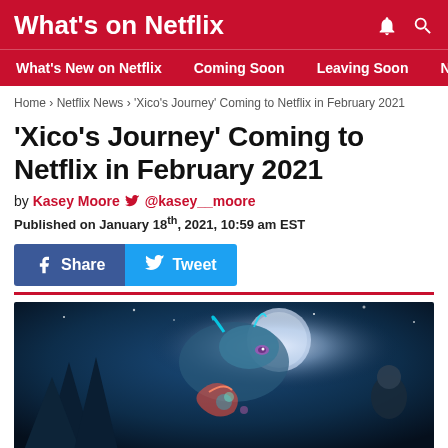What's on Netflix
What's New on Netflix | Coming Soon | Leaving Soon | Netflix Ne
Home › Netflix News › 'Xico's Journey' Coming to Netflix in February 2021
'Xico's Journey' Coming to Netflix in February 2021
by Kasey Moore 🐦 @kasey__moore
Published on January 18th, 2021, 10:59 am EST
[Figure (screenshot): Share and Tweet buttons (Facebook Share in blue, Twitter Tweet in light blue)]
[Figure (illustration): Animated movie artwork showing a fantastical dragon-like creature and a girl under a moonlit night sky with glowing magical elements, from Xico's Journey]